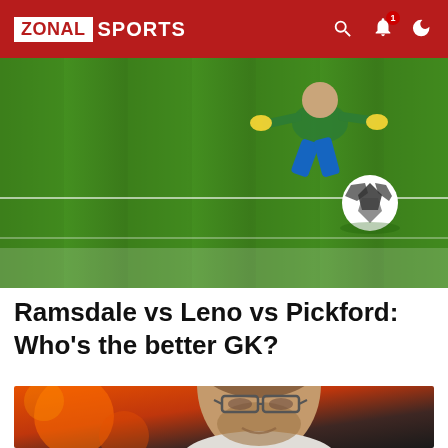ZONAL SPORTS
[Figure (photo): A soccer/football scene on a green pitch showing a goalkeeper on the ground and a football in flight near the goal]
Ramsdale vs Leno vs Pickford: Who's the better GK?
[Figure (photo): Portrait of a man with glasses and beard, smiling slightly, against a blurred orange/dark background — appears to be a football manager]